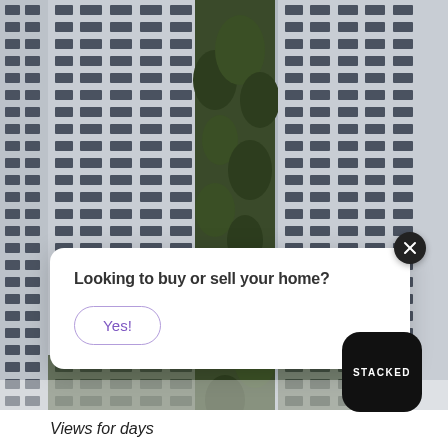[Figure (photo): Aerial photograph of tall HDB apartment blocks in Singapore with trees between the buildings, viewed from above at a slight angle.]
Looking to buy or sell your home?
Yes!
[Figure (logo): STACKED logo — white text on a black rounded square background]
Views for days